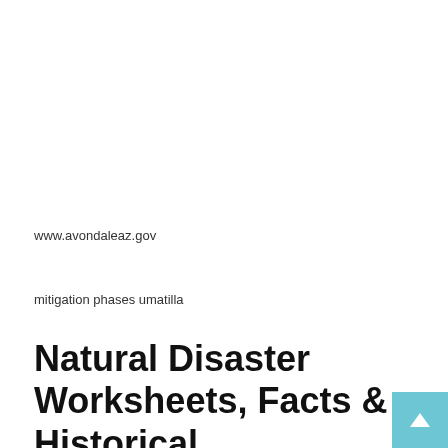www.avondaleaz.gov
mitigation phases umatilla
Natural Disaster Worksheets, Facts & Historical Information For Kids